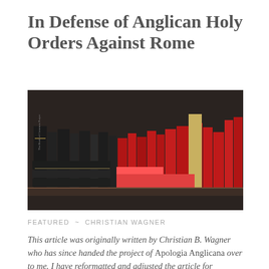In Defense of Anglican Holy Orders Against Rome
[Figure (photo): A bookshelf filled with dark and red-covered books, including what appear to be Anglican prayer books and religious texts.]
FEATURED ~ CHRISTIAN WAGNER
This article was originally written by Christian B. Wagner who has since handed the project of Apologia Anglicana over to me. I have reformatted and adjusted the article for compatibility with the